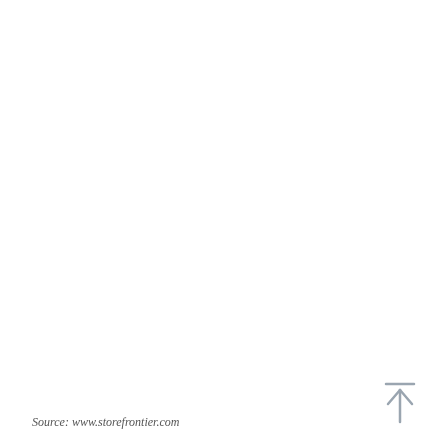Source: www.storefrontier.com
[Figure (other): Scroll-to-top arrow icon with a horizontal bar above an upward-pointing arrow, rendered in light gray]